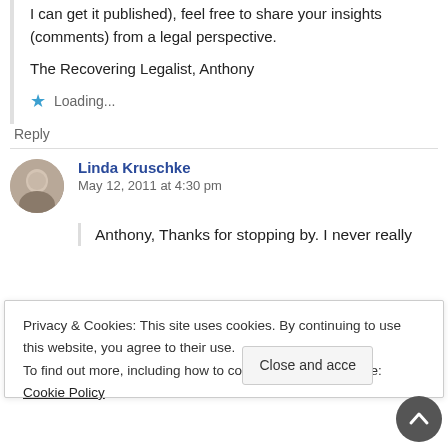I can get it published), feel free to share your insights (comments) from a legal perspective.
The Recovering Legalist, Anthony
Loading...
Reply
Linda Kruschke
May 12, 2011 at 4:30 pm
Anthony, Thanks for stopping by. I never really
Privacy & Cookies: This site uses cookies. By continuing to use this website, you agree to their use.
To find out more, including how to control cookies, see here: Cookie Policy
Close and accept